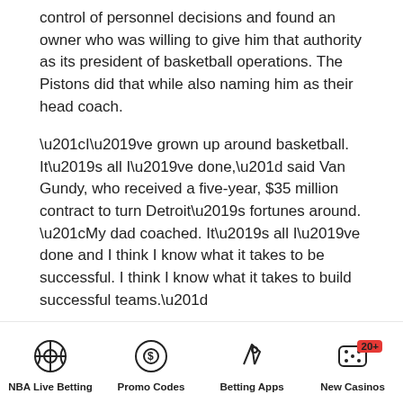control of personnel decisions and found an owner who was willing to give him that authority as its president of basketball operations. The Pistons did that while also naming him as their head coach.
“I’ve grown up around basketball. It’s all I’ve done,” said Van Gundy, who received a five-year, $35 million contract to turn Detroit’s fortunes around. “My dad coached. It’s all I’ve done and I think I know what it takes to be successful. I think I know what it takes to build successful teams.”
Join to our Telegram channel to stay up to date on the latest in marketing
NBA Live Betting | Promo Codes | Betting Apps | New Casinos